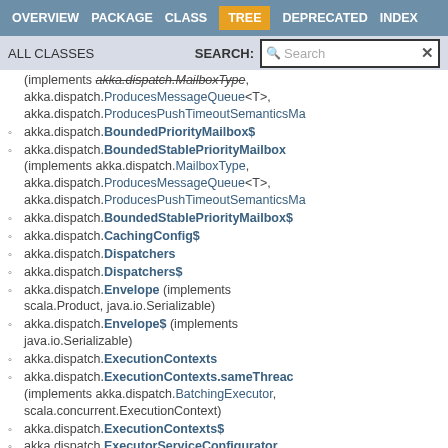OVERVIEW  PACKAGE  CLASS  TREE  DEPRECATED  INDEX
ALL CLASSES   SEARCH:
(implements akka.dispatch.MailboxType, akka.dispatch.ProducesMessageQueue<T>, akka.dispatch.ProducesPushTimeoutSemanticsMailbox)
akka.dispatch.BoundedPriorityMailbox$
akka.dispatch.BoundedStablePriorityMailbox (implements akka.dispatch.MailboxType, akka.dispatch.ProducesMessageQueue<T>, akka.dispatch.ProducesPushTimeoutSemanticsMailbox)
akka.dispatch.BoundedStablePriorityMailbox$
akka.dispatch.CachingConfig$
akka.dispatch.Dispatchers
akka.dispatch.Dispatchers$
akka.dispatch.Envelope (implements scala.Product, java.io.Serializable)
akka.dispatch.Envelope$ (implements java.io.Serializable)
akka.dispatch.ExecutionContexts
akka.dispatch.ExecutionContexts.sameThread (implements akka.dispatch.BatchingExecutor, scala.concurrent.ExecutionContext)
akka.dispatch.ExecutionContexts$
akka.dispatch.ExecutorServiceConfigurator (implements akka.dispatch.ExecutorServiceFactoryProvider)